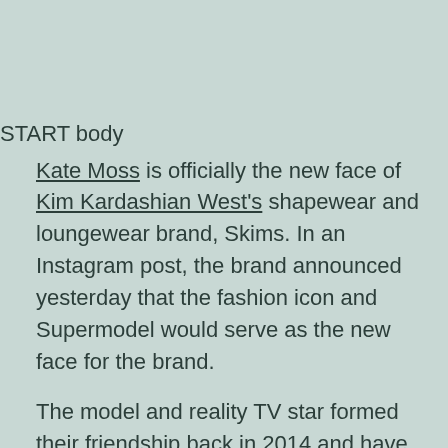START body
Kate Moss is officially the new face of Kim Kardashian West's shapewear and loungewear brand, Skims. In an Instagram post, the brand announced yesterday that the fashion icon and Supermodel would serve as the new face for the brand.
The model and reality TV star formed their friendship back in 2014 and have been close ever since.“I first met Kate in 2014 through